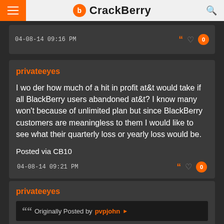CrackBerry
04-08-14 09:16 PM
privateeyes
I wo der how much of a hit in profit at&t would take if all BlackBerry users abandoned at&t? I know many won't because of unlimited plan but since BlackBerry customers are meaningless to them I would like to see what their quarterly loss or yearly loss would be.

Posted via CB10
04-08-14 09:21 PM
privateeyes
Originally Posted by pvpjohn